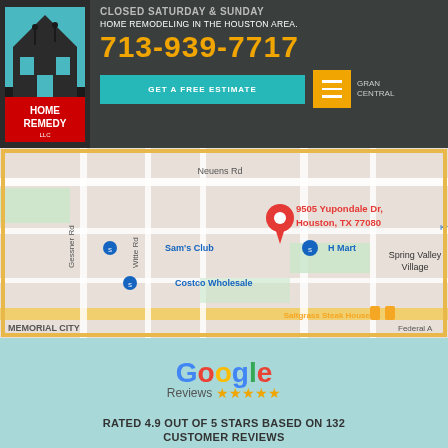CLOSED SATURDAY & SUNDAY
HOME REMODELING IN THE HOUSTON AREA.
713-939-7717
GET A FREE ESTIMATE
[Figure (map): Google Maps showing location at 9505 Yupondale Dr, Houston, TX 77080 with nearby landmarks: Sam's Club, Costco Wholesale, H Mart, Saltgrass Steak House, Spring Valley Village, MEMORIAL CITY]
[Figure (logo): Google Reviews logo with 5 gold stars]
RATED 4.9 OUT OF 5 STARS BASED ON 132 CUSTOMER REVIEWS